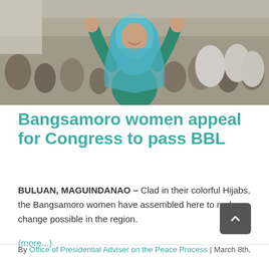[Figure (photo): A Bangsamoro woman wearing a teal hijab and green outfit raises both arms above her head, smiling, in front of a large crowd of people gathered indoors.]
Bangsamoro women appeal for Congress to pass BBL
BULUAN, MAGUINDANAO – Clad in their colorful Hijabs, the Bangsamoro women have assembled here to make change possible in the region.
(more...)
By Office of Presidential Adviser on the Peace Process | March 8th,